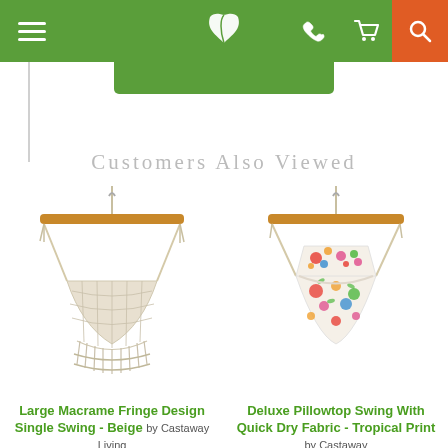Navigation header with menu, logo, phone, cart, and search icons
Customers Also Viewed
[Figure (photo): Large Macrame Fringe Design Single Swing in Beige - hanging hammock chair with natural cotton rope and fringe tassels]
Large Macrame Fringe Design Single Swing - Beige by Castaway Living
[Figure (photo): Deluxe Pillowtop Swing With Quick Dry Fabric in Tropical Print - hanging hammock chair with colorful floral fabric]
Deluxe Pillowtop Swing With Quick Dry Fabric - Tropical Print by Castaway